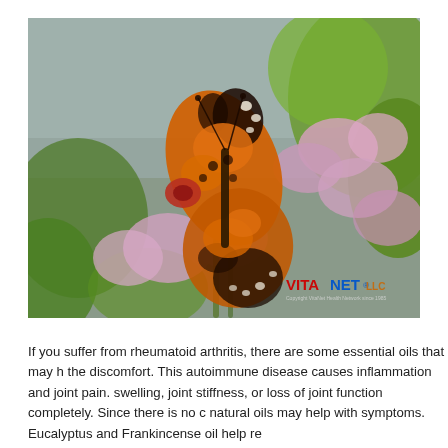[Figure (photo): Close-up photograph of a painted lady butterfly (orange, black, white markings) perched on pink flowering herbs, with green leaves in background. VitaNet watermark in bottom-right corner.]
If you suffer from rheumatoid arthritis, there are some essential oils that may h the discomfort. This autoimmune disease causes inflammation and joint pain. swelling, joint stiffness, or loss of joint function completely. Since there is no c natural oils may help with symptoms. Eucalyptus and Frankincense oil help re